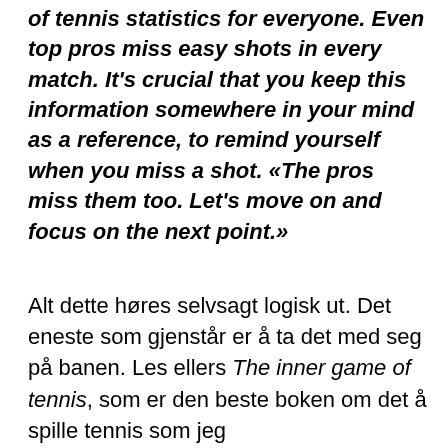of tennis statistics for everyone. Even top pros miss easy shots in every match. It's crucial that you keep this information somewhere in your mind as a reference, to remind yourself when you miss a shot. «The pros miss them too. Let's move on and focus on the next point.»
Alt dette høres selvsagt logisk ut. Det eneste som gjenstår er å ta det med seg på banen. Les ellers The inner game of tennis, som er den beste boken om det å spille tennis som jeg